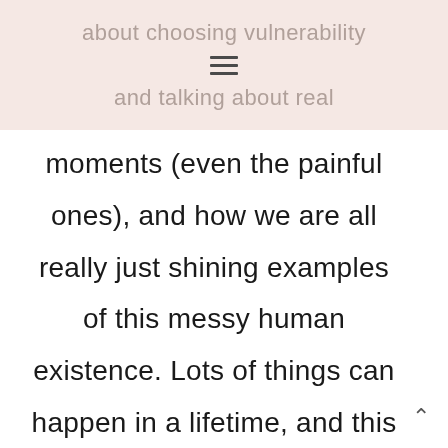about choosing vulnerability and talking about real
moments (even the painful ones), and how we are all really just shining examples of this messy human existence. Lots of things can happen in a lifetime, and this podcast is about those ugly, awful things that we all have to go through in life.